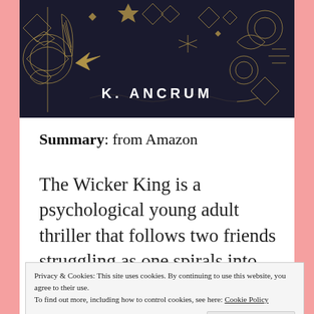[Figure (illustration): Book cover for 'The Wicker King' by K. Ancrum — dark background with gold decorative illustrations and author name in white text]
Summary: from Amazon
The Wicker King is a psychological young adult thriller that follows two friends struggling as one spirals into madness.
Privacy & Cookies: This site uses cookies. By continuing to use this website, you agree to their use. To find out more, including how to control cookies, see here: Cookie Policy
is a golden boy on the varsity rugby team–